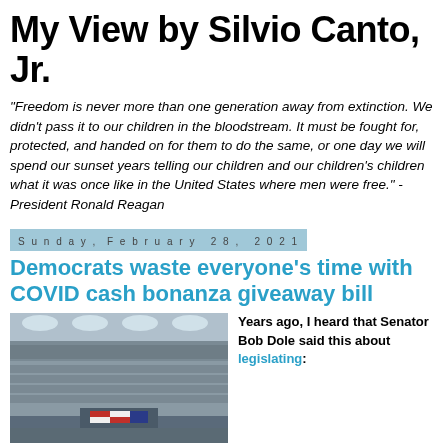My View by Silvio Canto, Jr.
"Freedom is never more than one generation away from extinction. We didn't pass it to our children in the bloodstream. It must be fought for, protected, and handed on for them to do the same, or one day we will spend our sunset years telling our children and our children's children what it was once like in the United States where men were free." - President Ronald Reagan
Sunday, February 28, 2021
Democrats waste everyone's time with COVID cash bonanza giveaway bill
[Figure (photo): Photo of the U.S. House chamber during a session, showing representatives seated, with the American flag and podium visible.]
Years ago, I heard that Senator Bob Dole said this about legislating: